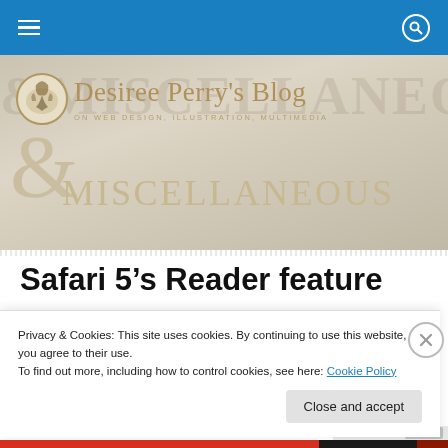Navigation bar with hamburger menu and search icon
[Figure (illustration): Desiree Perry's Blog header banner with decorative logo, title text 'Desiree Perry's Blog', subtitle 'ON WEB DESIGN, ILLUSTRATION, MULTIMEDIA & MISCELLANEOUS' in gold/tan colors on beige textured background]
Safari 5’s Reader feature
Privacy & Cookies: This site uses cookies. By continuing to use this website, you agree to their use.
To find out more, including how to control cookies, see here: Cookie Policy
Close and accept